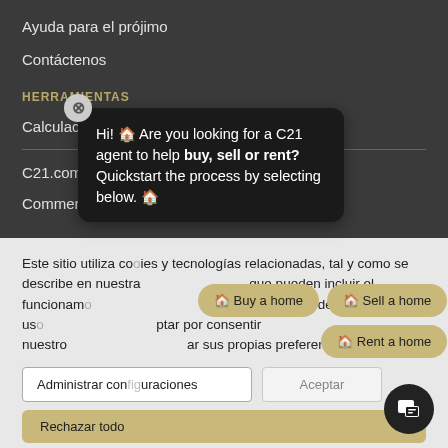Ayuda para el prójimo
Contáctenos
HERRAMIENTAS
Calculadora de capacidad de pago
C21.com (Sitio en inglés)
Commercial (Sitio en inglés)
Este sitio utiliza cookies y tecnologías relacionadas, tal y como se describe en nuestra política de privacidad, que pueden incluir el funcionamiento básico del sitio, mejora de la experiencia del usuario, o análisis. Puede optar por consentir nuestro uso de estas tecnologías, o gestionar sus propias preferencias.
[Figure (screenshot): Chat popup overlay: 'Hi! 🏠 Are you looking for a C21 agent to help buy, sell or rent? Quickstart the process by selecting below. 🏠' with options: Buy a home, Sell a home, Rent a home]
Administrar configuraciones
Aceptar
Rechazar todo